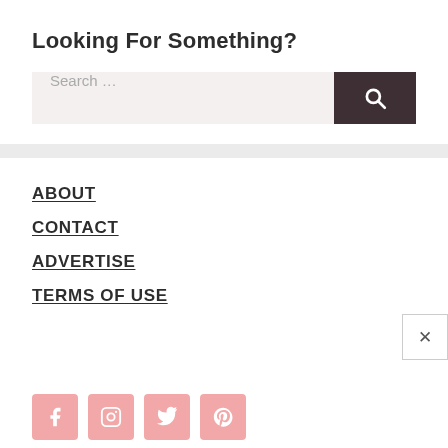Looking For Something?
Search …
ABOUT
CONTACT
ADVERTISE
TERMS OF USE
[Figure (other): Social media icons: Facebook, Instagram, Twitter, Pinterest — pink rounded square buttons]